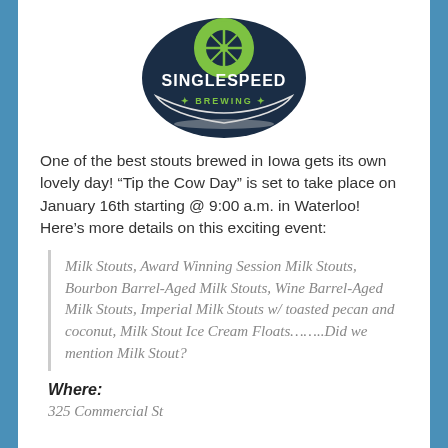[Figure (logo): SingleSpeed Brewing logo: dark navy shield shape with green bicycle wheel/leaf design on top, white text 'SINGLESPEED' in large letters, green text 'BREWING' with decorative leaf/hop elements below]
One of the best stouts brewed in Iowa gets its own lovely day! “Tip the Cow Day” is set to take place on January 16th starting @ 9:00 a.m. in Waterloo! Here’s more details on this exciting event:
Milk Stouts, Award Winning Session Milk Stouts, Bourbon Barrel-Aged Milk Stouts, Wine Barrel-Aged Milk Stouts, Imperial Milk Stouts w/ toasted pecan and coconut, Milk Stout Ice Cream Floats……..Did we mention Milk Stout?
Where:
325 Commercial St